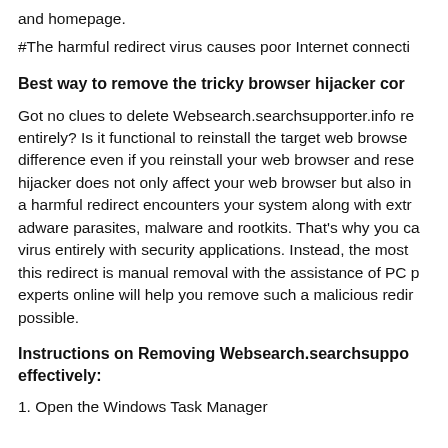and homepage.
#The harmful redirect virus causes poor Internet connecti
Best way to remove the tricky browser hijacker cor
Got no clues to delete Websearch.searchsupporter.info re entirely? Is it functional to reinstall the target web browse difference even if you reinstall your web browser and rese hijacker does not only affect your web browser but also in a harmful redirect encounters your system along with extr adware parasites, malware and rootkits. That's why you ca virus entirely with security applications. Instead, the most this redirect is manual removal with the assistance of PC p experts online will help you remove such a malicious redir possible.
Instructions on Removing Websearch.searchsuppo effectively:
1. Open the Windows Task Manager